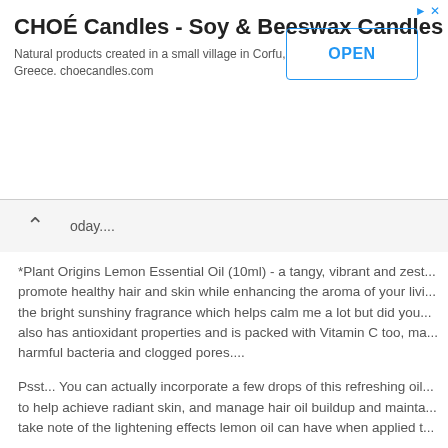[Figure (screenshot): Advertisement banner for CHOÉ Candles - Soy & Beeswax Candles with OPEN button]
oday....
*Plant Origins Lemon Essential Oil (10ml) - a tangy, vibrant and zest... promote healthy hair and skin while enhancing the aroma of your livi... the bright sunshiny fragrance which helps calm me a lot but did you... also has antioxidant properties and is packed with Vitamin C too, ma... harmful bacteria and clogged pores....
Psst... You can actually incorporate a few drops of this refreshing oil... to help achieve radiant skin, and manage hair oil buildup and mainta... take note of the lightening effects lemon oil can have when applied t...
Lemon essential oil is also perfect when you are feeling stuck or hav... sure what to do, as it invites a sense of clarity and alertness when di... providing you with a quick energy boost to get you through your slow...
*Plant Origins Pink Grapefruit Essential Oil (10ml) - a happy, light, re... without being too sharp, tangy scent to lift your mood and also aid w...